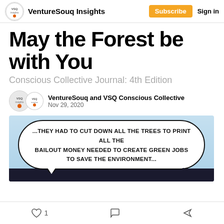VentureSouq Insights  Subscribe  Sign in
May the Forest be with You
Conscious Collective Journal: 4th Edition
VentureSouq and VSQ Conscious Collective
Nov 29, 2020
[Figure (illustration): Comic speech bubble on light blue sky background with text: ...THEY HAD TO CUT DOWN ALL THE TREES TO PRINT ALL THE BAILOUT MONEY NEEDED TO CREATE GREEN JOBS TO SAVE THE ENVIRONMENT...]
1  [comment icon]  [share icon]